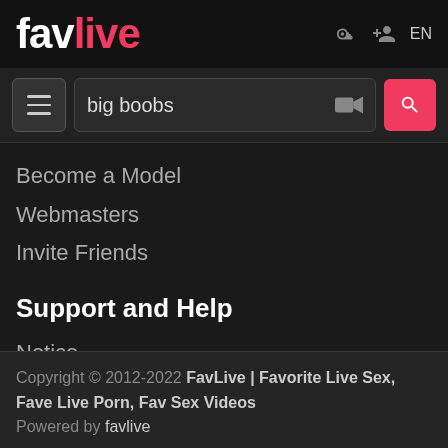favlive — EN
big boobs
Become a Model
Webmasters
Invite Friends
Support and Help
Notice
FAQ
Support / Feedback
Copyright © 2012-2022 FavLive | Favorite Live Sex, Fave Live Porn, Fav Sex Videos
Powered by favlive